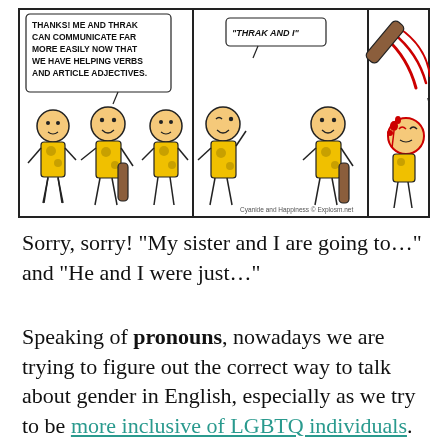[Figure (illustration): Cyanide and Happiness comic strip in three panels showing stick figures in cave-person outfits. Panel 1: A character says 'THANKS! ME AND THRAK CAN COMMUNICATE FAR MORE EASILY NOW THAT WE HAVE HELPING VERBS AND ARTICLE ADJECTIVES.' Panel 2: Another character says '"THRAK AND I"'. Panel 3: A character is hit on the head with a club, bleeding. Watermark reads 'Cyanide and Happiness © Explosm.net'.]
Sorry, sorry! "My sister and I are going to…" and "He and I were just…"
Speaking of pronouns, nowadays we are trying to figure out the correct way to talk about gender in English, especially as we try to be more inclusive of LGBTQ individuals. When we don't